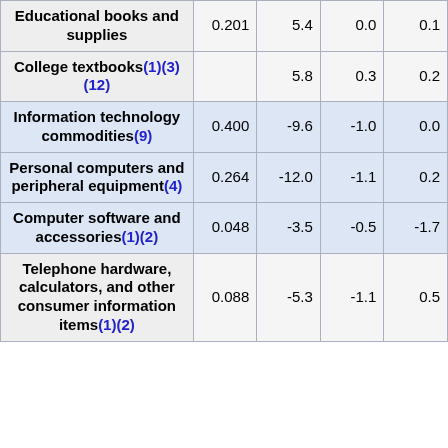| Item | Weight | Col3 | Col4 | Col5 |
| --- | --- | --- | --- | --- |
| Educational books and supplies | 0.201 | 5.4 | 0.0 | 0.1 |
| College textbooks(1)(3)(12) |  | 5.8 | 0.3 | 0.2 |
| Information technology commodities(9) | 0.400 | -9.6 | -1.0 | 0.0 |
| Personal computers and peripheral equipment(4) | 0.264 | -12.0 | -1.1 | 0.2 |
| Computer software and accessories(1)(2) | 0.048 | -3.5 | -0.5 | -1.7 |
| Telephone hardware, calculators, and other consumer information items(1)(2) | 0.088 | -5.3 | -1.1 | 0.5 |